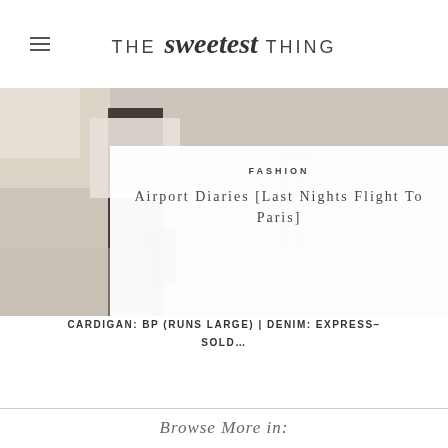THE sweetest THING
[Figure (photo): Fashion blog hero image showing a person with luggage in an airport or hotel setting, overlaid with a white card containing article info]
FASHION
Airport Diaries [Last Nights Flight To Paris]
CARDIGAN: BP (runs large) | DENIM: Express–sold...
Browse More in: